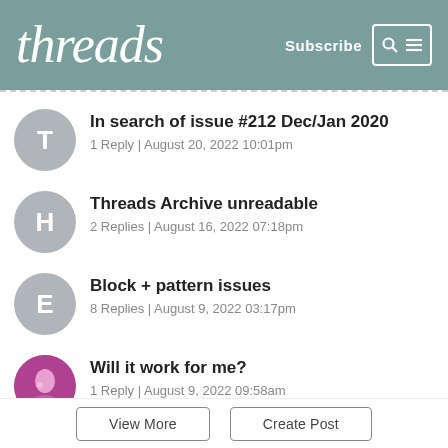threads | Subscribe
In search of issue #212 Dec/Jan 2020
1 Reply | August 20, 2022 10:01pm
Threads Archive unreadable
2 Replies | August 16, 2022 07:18pm
Block + pattern issues
8 Replies | August 9, 2022 03:17pm
Will it work for me?
1 Reply | August 9, 2022 09:58am
View More | Create Post